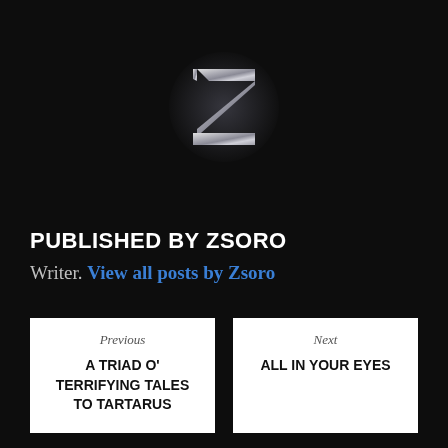[Figure (logo): Stylized metallic Z letter logo on dark background with radial glow]
PUBLISHED BY ZSORO
Writer. View all posts by Zsoro
Previous
A TRIAD O' TERRIFYING TALES TO TARTARUS
Next
ALL IN YOUR EYES